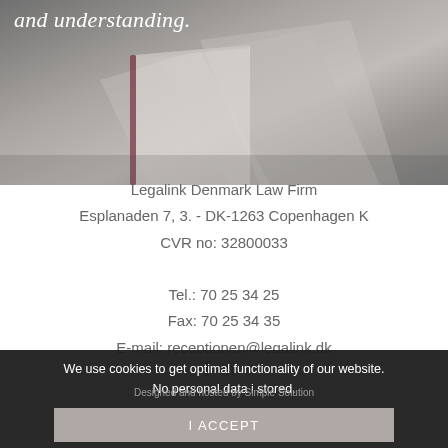[Figure (photo): Background photo of papers/documents in grey tones with italic white text overlay reading 'and understanding.']
and understanding.
Legalink Denmark Law Firm
Esplanaden 7, 3. - DK-1263 Copenhagen K
CVR no: 32800033

Tel.: 70 25 34 25
Fax: 70 25 34 35
E-mail: receptionen@legalink.dk
[Figure (logo): Facebook and LinkedIn social media icons (f and in)]
We use cookies to get optimal functionality of our website. No personal data i stored.
Designed and hosted by Simple Solution
I ACCEPT